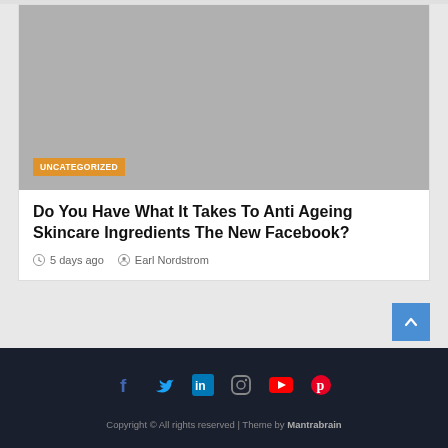[Figure (photo): Grey image placeholder with orange UNCATEGORIZED badge at bottom left]
Do You Have What It Takes To Anti Ageing Skincare Ingredients The New Facebook?
5 days ago   Earl Nordstrom
[Figure (infographic): Social media icons row: Facebook, Twitter, LinkedIn, Instagram, YouTube, Pinterest]
Copyright © All rights reserved | Theme by Mantrabrain